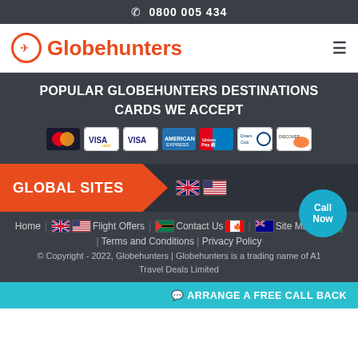☎ 0800 005 434
[Figure (logo): Globehunters logo with orange airplane icon in circle and orange text]
POPULAR GLOBEHUNTERS DESTINATIONS
CARDS WE ACCEPT
[Figure (infographic): Payment card logos: Mastercard, Visa (debit), Visa, American Express, UnionPay, Diners Club, Discover]
[Figure (infographic): Global Sites banner with orange arrow shape on dark background]
Home | Flight Offers | Contact Us | Site Map
| Terms and Conditions | Privacy Policy
© Copyright - 2022, Globehunters | Globehunters is a trading name of A1 Travel Deals Limited
[Figure (infographic): Call Now circular teal button]
ARRANGE A FREE CALL BACK